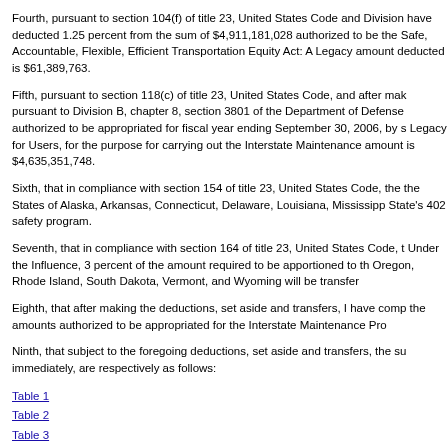Fourth, pursuant to section 104(f) of title 23, United States Code and Division have deducted 1.25 percent from the sum of $4,911,181,028 authorized to be the Safe, Accountable, Flexible, Efficient Transportation Equity Act: A Legacy amount deducted is $61,389,763.
Fifth, pursuant to section 118(c) of title 23, United States Code, and after making pursuant to Division B, chapter 8, section 3801 of the Department of Defense authorized to be appropriated for fiscal year ending September 30, 2006, by s Legacy for Users, for the purpose for carrying out the Interstate Maintenance amount is $4,635,351,748.
Sixth, that in compliance with section 154 of title 23, United States Code, the the States of Alaska, Arkansas, Connecticut, Delaware, Louisiana, Mississippi State's 402 safety program.
Seventh, that in compliance with section 164 of title 23, United States Code, t Under the Influence, 3 percent of the amount required to be apportioned to th Oregon, Rhode Island, South Dakota, Vermont, and Wyoming will be transfer
Eighth, that after making the deductions, set aside and transfers, I have comp the amounts authorized to be appropriated for the Interstate Maintenance Pro
Ninth, that subject to the foregoing deductions, set aside and transfers, the su immediately, are respectively as follows:
Table 1
Table 2
Table 3
Table 4